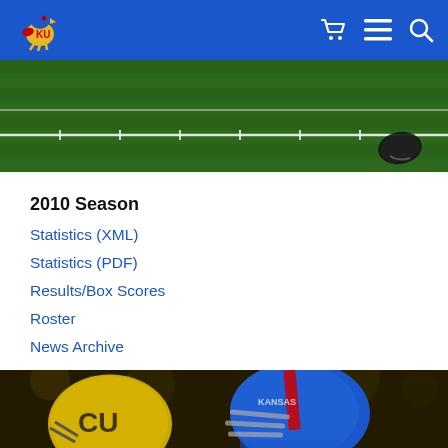University of Kansas Athletics - Navigation Header
[Figure (photo): Football field with yard lines visible and a helmet on the turf]
2010 Season
Statistics (XML)
Statistics (PDF)
Results/Box Scores
Roster
News Archive
[Figure (photo): Two football players facing off - one in gold Colorado Buffaloes helmet, one in blue Kansas Jayhawks helmet]